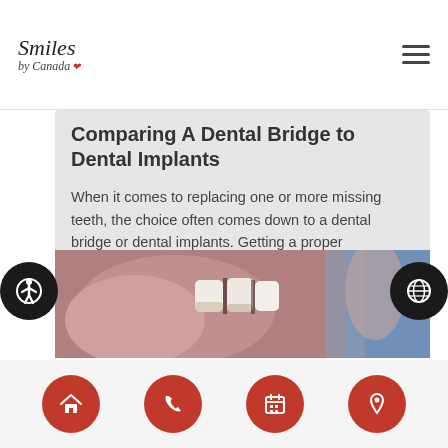Smiles by Canada
Comparing A Dental Bridge to Dental Implants
When it comes to replacing one or more missing teeth, the choice often comes down to a dental bridge or dental implants. Getting a proper replacement is important in order to restore the appearance of your smile. If you are considering the tooth replacement process, then you may want to know about the difference between…
[Figure (photo): Close-up photo of teeth/dental work in a mouth, with someone in a blue shirt visible in background]
[Figure (infographic): Bottom navigation bar with four red circular buttons: home, phone, calendar, location icons; plus accessibility and globe icons on sides]